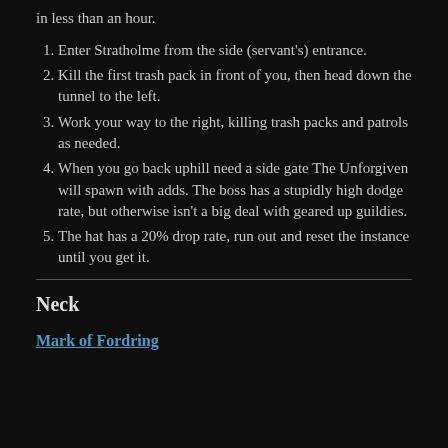in less than an hour.
Enter Stratholme from the side (servant's) entrance.
Kill the first trash pack in front of you, then head down the tunnel to the left.
Work your way to the right, killing trash packs and patrols as needed.
When you go back uphill need a side gate The Unforgiven will spawn with adds. The boss has a stupidly high dodge rate, but otherwise isn't a big deal with geared up guildies.
The hat has a 20% drop rate, run out and reset the instance until you get it.
Neck
Mark of Fordring